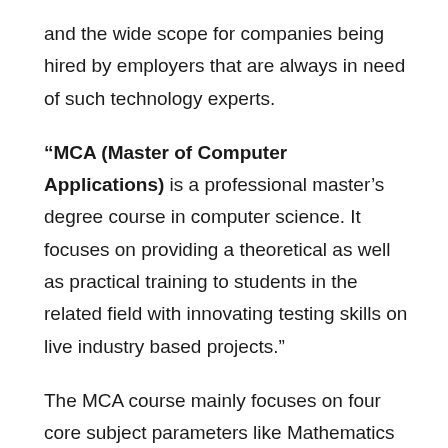and the wide scope for companies being hired by employers that are always in need of such technology experts.
“MCA (Master of Computer Applications) is a professional master’s degree course in computer science. It focuses on providing a theoretical as well as practical training to students in the related field with innovating testing skills on live industry based projects.”
The MCA course mainly focuses on four core subject parameters like Mathematics behind Computer Science, concepts in core computers and systems, non-core computer systems and software development or design.